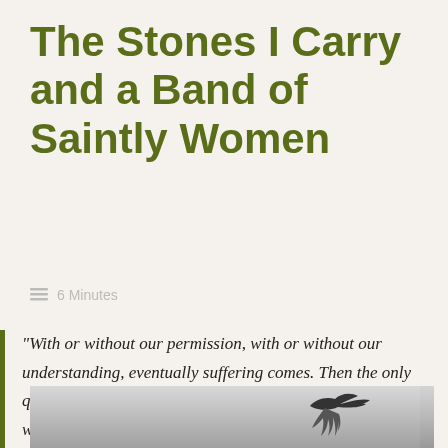The Stones I Carry and a Band of Saintly Women
≡ 6 Minutes
“With or without our permission, with or without our understanding, eventually suffering comes. Then the only question is how to endure it, how to accept it, how to cope with it, how to turn it from dross to gleam.”

Joan Chittister, The Liturgical Year
[Figure (photo): Black and white photograph, partially visible at bottom of page, showing a bird silhouette against a grey sky.]